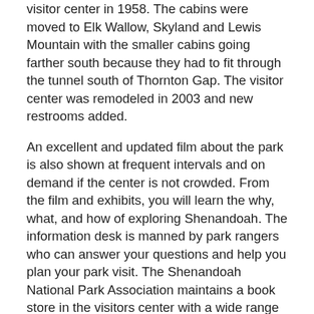visitor center in 1958. The cabins were moved to Elk Wallow, Skyland and Lewis Mountain with the smaller cabins going farther south because they had to fit through the tunnel south of Thornton Gap. The visitor center was remodeled in 2003 and new restrooms added.
An excellent and updated film about the park is also shown at frequent intervals and on demand if the center is not crowded. From the film and exhibits, you will learn the why, what, and how of exploring Shenandoah. The information desk is manned by park rangers who can answer your questions and help you plan your park visit. The Shenandoah National Park Association maintains a book store in the visitors center with a wide range of publications and related items including an array of guides and references on park history, flora and fauna. Included are many items geared to children.
There are views to both east and west from the building. If you walk down to the edge of the grassy area you can look west across the Valley to the Massanutten. To the far left is Hogback Mountain, with